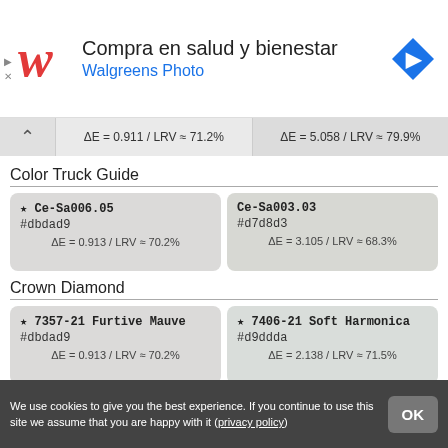[Figure (screenshot): Walgreens advertisement banner with red cursive W logo, text 'Compra en salud y bienestar' and 'Walgreens Photo' in blue, and a blue navigation diamond icon on the right]
ΔE = 0.911 / LRV ≈ 71.2%
ΔE = 5.058 / LRV ≈ 79.9%
Color Truck Guide
| Color 1 | Color 2 |
| --- | --- |
| ★ Ce-Sa006.05
#dbdad9
ΔE = 0.913 / LRV ≈ 70.2% | Ce-Sa003.03
#d7d8d3
ΔE = 3.105 / LRV ≈ 68.3% |
Crown Diamond
| Color 1 | Color 2 |
| --- | --- |
| ★ 7357-21 Furtive Mauve
#dbdad9
ΔE = 0.913 / LRV ≈ 70.2% | ★ 7406-21 Soft Harmonica
#d9ddda
ΔE = 2.138 / LRV ≈ 71.5% |
Scib Paints
We use cookies to give you the best experience. If you continue to use this site we assume that you are happy with it (privacy policy)